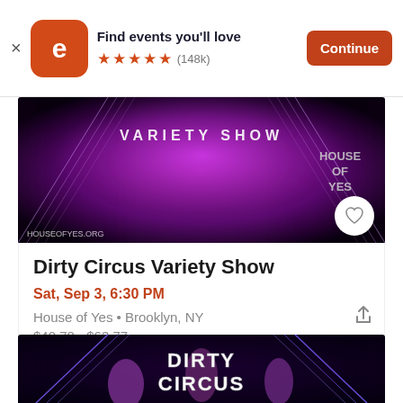[Figure (screenshot): Eventbrite app install banner with orange icon showing stylized 'e', text 'Find events you'll love', 5 red stars, (148k) reviews, and orange 'Continue' button]
[Figure (photo): Dirty Circus Variety Show event banner image with purple/pink neon lighting, 'VARIETY SHOW' text, and 'HOUSE OF YES' branding, houseofyes.org watermark]
Dirty Circus Variety Show
Sat, Sep 3, 6:30 PM
House of Yes • Brooklyn, NY
$40.78 - $63.77
[Figure (photo): Dirty Circus promotional image with performers and large 'DIRTY CIRCUS' text on dark background with neon geometric lines]